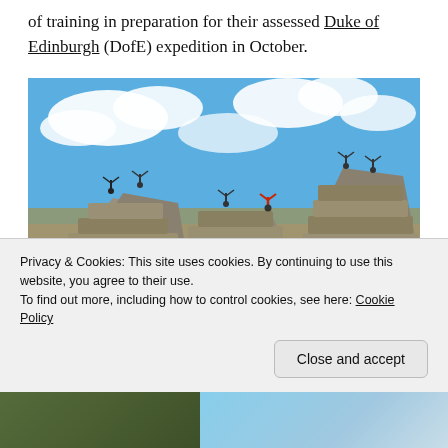of training in preparation for their assessed Duke of Edinburgh (DofE) expedition in October.
[Figure (photo): Group of young people standing on top of large granite tor rock formations with arms raised in celebration, under a blue sky with white clouds. Rocky moorland landscape, likely Dartmoor.]
Privacy & Cookies: This site uses cookies. By continuing to use this website, you agree to their use.
To find out more, including how to control cookies, see here: Cookie Policy